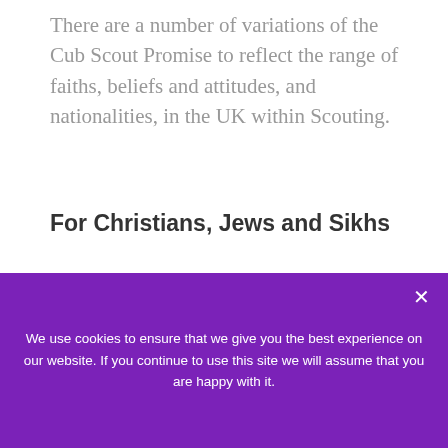There are a number of variations of the Cub Scout Promise to reflect the range of faiths, beliefs and attitudes, and nationalities, in the UK within Scouting.
For Christians, Jews and Sikhs
I promise that I will do my best to do my duty to God and to the Queen
We use cookies to ensure that we give you the best experience on our website. If you continue to use this site we will assume that you are happy with it.